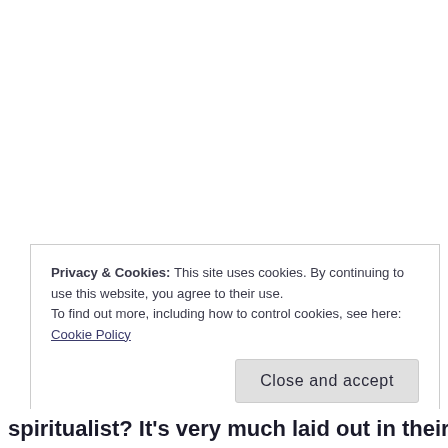Privacy & Cookies: This site uses cookies. By continuing to use this website, you agree to their use.
To find out more, including how to control cookies, see here:
Cookie Policy
Close and accept
spiritualist? It's very much laid out in their